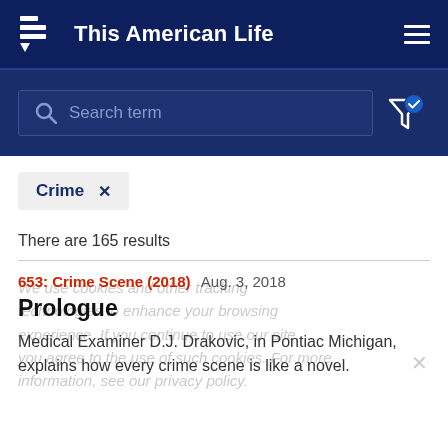This American Life
[Figure (screenshot): Search bar with placeholder text 'Search term' and filter icon with checkmark]
Crime  ×
There are 165 results
653: Crime Scene (2018)  Aug. 3, 2018
Prologue
Medical Examiner D.J. Drakovic, in Pontiac Michigan, explains how every crime scene is like a novel.